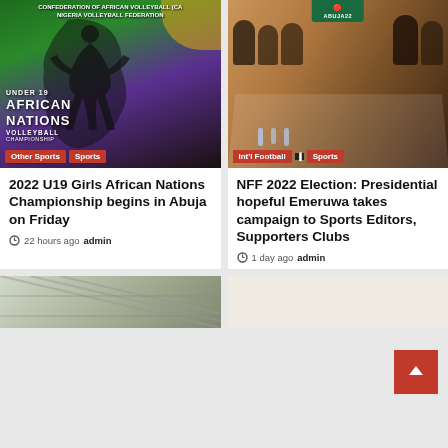[Figure (photo): Volleyball poster: Under 19 African Nations Volleyball Championship, with Africa silhouette on green/purple background. Tags: Other Sports, Sports]
2022 U19 Girls African Nations Championship begins in Abuja on Friday
22 hours ago  admin
[Figure (photo): Photo of a meeting room with people seated around a long table, green banner visible. Tags: Int'l Football, Sports]
NFF 2022 Election: Presidential hopeful Emeruwa takes campaign to Sports Editors, Supporters Clubs
1 day ago  admin
[Figure (photo): Partial bottom image left - appears to show some sports equipment or scene]
[Figure (photo): Partial bottom image right - light colored background]